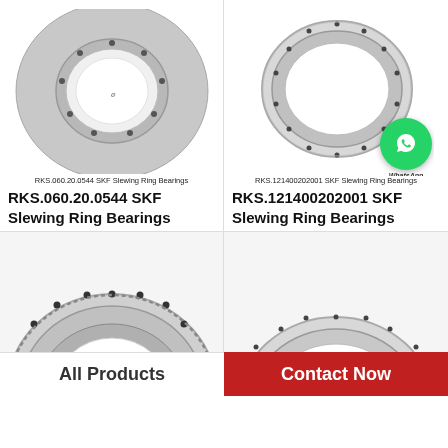[Figure (photo): Large slewing ring bearing with external gear teeth, silver metallic, viewed from above - RKS.060.20.0544 SKF]
[Figure (photo): Slewing ring bearing, thinner profile, with bolt holes around the circumference - RKS.121400202001 SKF]
RKS.060.20.0544 SKF Slewing Ring Bearings
RKS.121400202001 SKF Slewing Ring Bearings
RKS.060.20.0544 SKF Slewing Ring Bearings
RKS.121400202001 SKF Slewing Ring Bearings
[Figure (photo): Slewing ring bearing partial view from above, showing gear teeth and bolt holes]
[Figure (photo): Slewing ring bearing thinner type partial view]
All Products
Contact Now